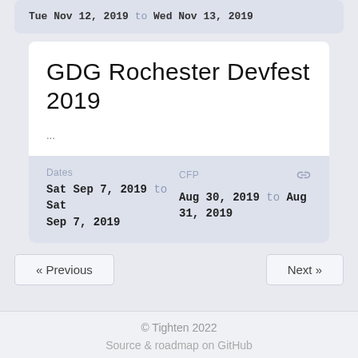Tue Nov 12, 2019 to Wed Nov 13, 2019
GDG Rochester Devfest 2019
...
Dates
Sat Sep 7, 2019 to Sat Sep 7, 2019
CFP
Aug 30, 2019 to Aug 31, 2019
« Previous
Next »
© Tighten 2022
Source & roadmap on GitHub